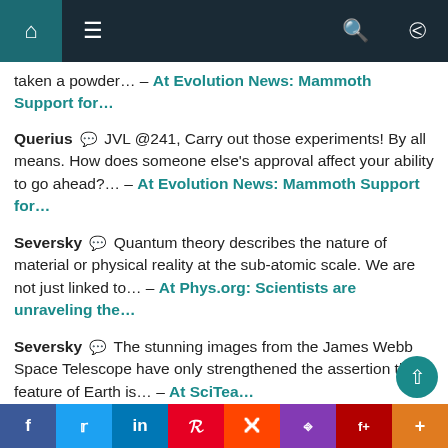Navigation bar with home, menu, search, and shuffle icons
taken a powder... – At Evolution News: Mammoth Support for...
Querius 💬 JVL @241, Carry out those experiments! By all means. How does someone else's approval affect your ability to go ahead?... – At Evolution News: Mammoth Support for...
Seversky 💬 Quantum theory describes the nature of material or physical reality at the sub-atomic scale. We are not just linked to... – At Phys.org: Scientists are unraveling the...
Seversky 💬 The stunning images from the James Webb Space Telescope have only strengthened the assertion that a feature of Earth is... – At SciTea...
Facebook Twitter LinkedIn Pinterest Reddit Instagram Flipboard More